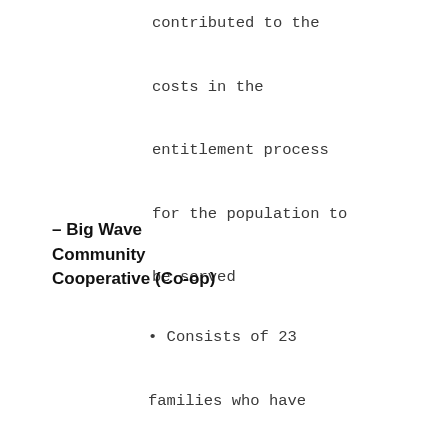contributed to the costs in the entitlement process for the population to be served
– Big Wave Community Cooperative (Co-op)
• Consists of 23 families who have purchased 23 out of 33 residential units